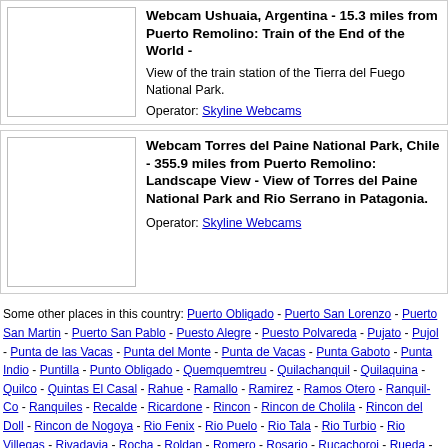[Figure (photo): Thumbnail placeholder for Webcam Ushuaia train station]
Webcam Ushuaia, Argentina - 15.3 miles from Puerto Remolino: Train of the End of the World - View of the train station of the Tierra del Fuego National Park. Operator: Skyline Webcams
[Figure (photo): Thumbnail placeholder for Webcam Torres del Paine National Park]
Webcam Torres del Paine National Park, Chile - 355.9 miles from Puerto Remolino: Landscape View - View of Torres del Paine National Park and Rio Serrano in Patagonia. Operator: Skyline Webcams
Some other places in this country: Puerto Obligado - Puerto San Lorenzo - Puerto San Martin - Puerto San Pablo - Puesto Alegre - Puesto Polvareda - Pujato - Pujol - Punta de las Vacas - Punta del Monte - Punta de Vacas - Punta Gaboto - Punta Indio - Puntilla - Punto Obligado - Quemquemtreu - Quilachanquil - Quilaquina - Quilco - Quintas El Casal - Rahue - Ramallo - Ramirez - Ramos Otero - Ranquil- Co - Ranquiles - Recalde - Ricardone - Rincon - Rincon de Cholila - Rincon del Doll - Rincon de Nogoya - Rio Fenix - Rio Puelo - Rio Tala - Rio Turbio - Rio Villegas - Rivadavia - Rocha - Roldan - Romero - Rosario - Rucachoroi - Rueda - Saladillo - Salazar - Salto Grande - Sarnico - San Agustin - San Augustin
© 2004 - 2022 The Webcam Network